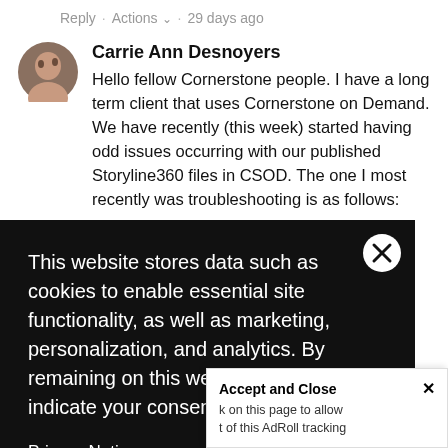Reply · Actions ∨ · 29 days ago
Carrie Ann Desnoyers
Hello fellow Cornerstone people. I have a long term client that uses Cornerstone on Demand. We have recently (this week) started having odd issues occurring with our published Storyline360 files in CSOD. The one I most recently was troubleshooting is as follows:
[Figure (screenshot): Cookie consent overlay popup with black background, text about website data storage, a close X button, and a Privacy Notice link]
user presses orward ( as m). Before thoroughly d. We had no CSOD system start to
Accept and Close ✕  k on this page to allow t of this AdRoll tracking
by clicking here. This message only appears once.